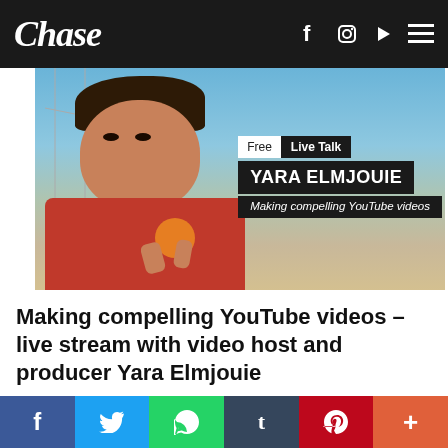Chase
[Figure (photo): Hero image of Yara Elmjouie holding an orange/apple outdoors, with overlay badges reading 'Free | Live Talk', 'YARA ELMJOUIE', and 'Making compelling YouTube videos']
Making compelling YouTube videos – live stream with video host and producer Yara Elmjouie
[Figure (infographic): Social share bar with Facebook, Twitter, WhatsApp, Tumblr, Pinterest, and More (+) buttons]